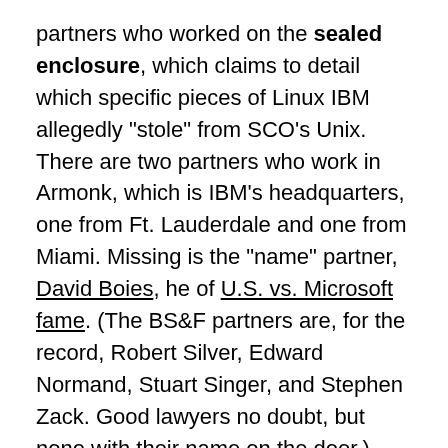partners who worked on the sealed enclosure, which claims to detail which specific pieces of Linux IBM allegedly "stole" from SCO's Unix. There are two partners who work in Armonk, which is IBM's headquarters, one from Ft. Lauderdale and one from Miami. Missing is the "name" partner, David Boies, he of U.S. vs. Microsoft fame. (The BS&F partners are, for the record, Robert Silver, Edward Normand, Stuart Singer, and Stephen Zack. Good lawyers no doubt, but none with their name on the door.)
The details at this point are unimportant. They're a means to the ultimate end, a determination of whether SCO ever "owned" anything IBM could have "stolen." That's a decision for the Judge, Dale